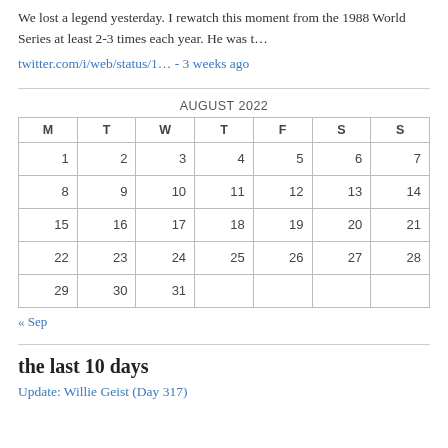We lost a legend yesterday. I rewatch this moment from the 1988 World Series at least 2-3 times each year. He was t…
twitter.com/i/web/status/1… - 3 weeks ago
| M | T | W | T | F | S | S |
| --- | --- | --- | --- | --- | --- | --- |
| 1 | 2 | 3 | 4 | 5 | 6 | 7 |
| 8 | 9 | 10 | 11 | 12 | 13 | 14 |
| 15 | 16 | 17 | 18 | 19 | 20 | 21 |
| 22 | 23 | 24 | 25 | 26 | 27 | 28 |
| 29 | 30 | 31 |  |  |  |  |
« Sep
the last 10 days
Update: Willie Geist (Day 317)